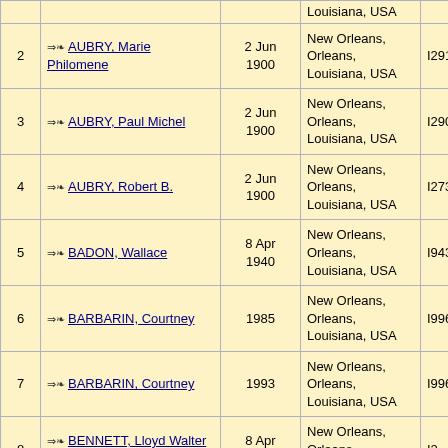| # | Name | Date | Place | ID |
| --- | --- | --- | --- | --- |
|  |  | Louisiana, USA |  |
| 2 | AUBRY, Marie Philomene | 2 Jun 1900 | New Orleans, Orleans, Louisiana, USA | I2914 |
| 3 | AUBRY, Paul Michel | 2 Jun 1900 | New Orleans, Orleans, Louisiana, USA | I2904 |
| 4 | AUBRY, Robert B. | 2 Jun 1900 | New Orleans, Orleans, Louisiana, USA | I2738 |
| 5 | BADON, Wallace | 8 Apr 1940 | New Orleans, Orleans, Louisiana, USA | I9437 |
| 6 | BARBARIN, Courtney | 1985 | New Orleans, Orleans, Louisiana, USA | I996 |
| 7 | BARBARIN, Courtney | 1993 | New Orleans, Orleans, Louisiana, USA | I996 |
| 8 | BENNETT, Lloyd Walter "Brudjen" Sr. | 8 Apr 1940 | New Orleans, Orleans, Louisiana, USA | I2 |
| 9 | BOCAGE, Fergus A. | 12 Jul 1870 | New Orleans, Orleans, Louisiana, USA | I2848 |
| 10 | BOCAGE, Germine | 11 Jun 1900 | New Orleans, Orleans, Louisiana, USA | I2857 |